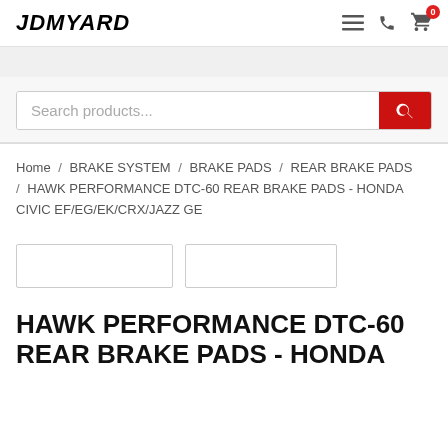JDMYARD
Search products...
Home / BRAKE SYSTEM / BRAKE PADS / REAR BRAKE PADS / HAWK PERFORMANCE DTC-60 REAR BRAKE PADS - HONDA CIVIC EF/EG/EK/CRX/JAZZ GE
[Figure (other): Two image placeholder boxes for product images]
HAWK PERFORMANCE DTC-60 REAR BRAKE PADS - HONDA